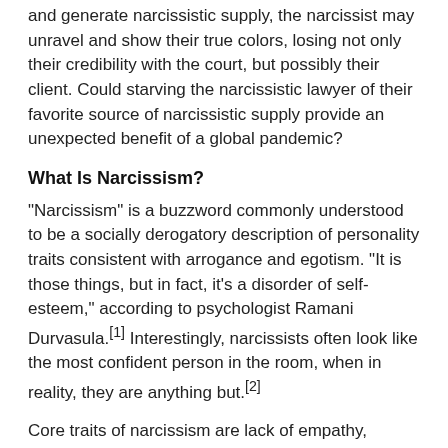and generate narcissistic supply, the narcissist may unravel and show their true colors, losing not only their credibility with the court, but possibly their client. Could starving the narcissistic lawyer of their favorite source of narcissistic supply provide an unexpected benefit of a global pandemic?
What Is Narcissism?
"Narcissism" is a buzzword commonly understood to be a socially derogatory description of personality traits consistent with arrogance and egotism. "It is those things, but in fact, it's a disorder of self-esteem," according to psychologist Ramani Durvasula.[1] Interestingly, narcissists often look like the most confident person in the room, when in reality, they are anything but.[2]
Core traits of narcissism are lack of empathy, grandiosity, entitlement, and the chronic need for admiration and